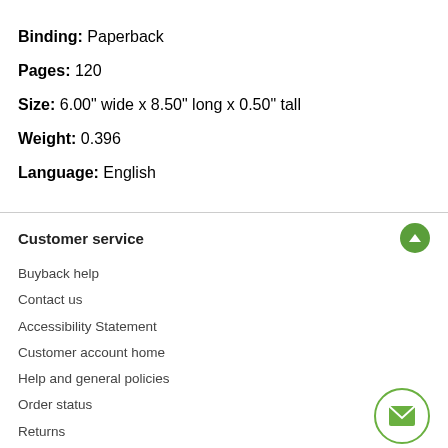Binding: Paperback
Pages: 120
Size: 6.00" wide x 8.50" long x 0.50" tall
Weight: 0.396
Language: English
Customer service
Buyback help
Contact us
Accessibility Statement
Customer account home
Help and general policies
Order status
Returns
Textbooks & more